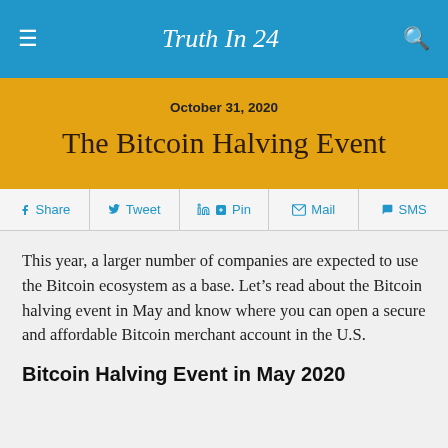Truth In 24
The Bitcoin Halving Event
October 31, 2020
Share  Tweet  Pin  Mail  SMS
This year, a larger number of companies are expected to use the Bitcoin ecosystem as a base. Let’s read about the Bitcoin halving event in May and know where you can open a secure and affordable Bitcoin merchant account in the U.S.
Bitcoin Halving Event in May 2020